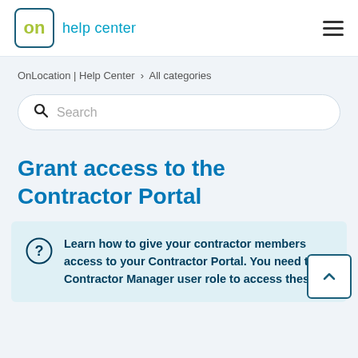on help center
OnLocation | Help Center › All categories
Search
Grant access to the Contractor Portal
Learn how to give your contractor members access to your Contractor Portal. You need the Contractor Manager user role to access these